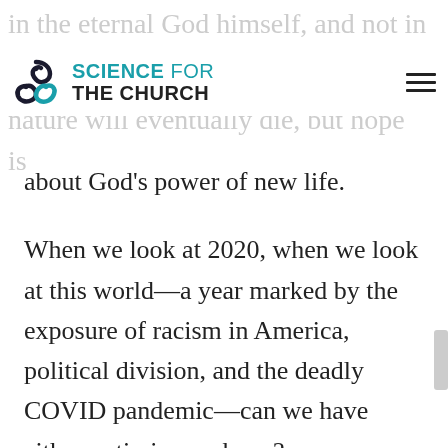in the eternal God himself, and not in
[Figure (logo): Science for the Church logo with circular icon and text]
nature will eventually die, but hope is
about God’s power of new life.
When we look at 2020, when we look at this world—a year marked by the exposure of racism in America, political division, and the deadly COVID pandemic—can we have either optimism or hope?
I think we can. As followers of Christ, we know that through Jesus, “the true